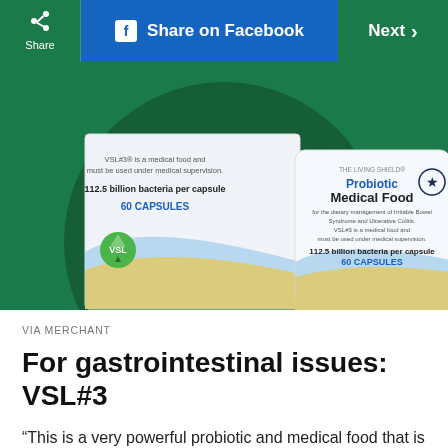Share | Share on Facebook | Next >
[Figure (photo): Product photo of VSL#3 Probiotic Medical Food showing two packages: a box and a bottle, both labeled '112.5 billion bacteria per capsule, 60 CAPSULES'. Text on packages reads 'VSL#3 is a medical food and must be used under medical supervision.' and 'THE LIVING SHIELD Probiotic Medical Food for the dietary management of Irritable Bowel Syndrome and Ulcerative Colitis.' Background is dark green with a large circular green shape.]
VIA MERCHANT
For gastrointestinal issues: VSL#3
“This is a very powerful probiotic and medical food that is really good for anyone suffering from ulcerative colitis or other serious gastrointestinal disorder,” says Kendra Worrell, RDN, director of